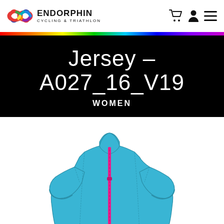ENDORPHIN CYCLING & TRIATHLON
Jersey – A027_16_V19
WOMEN
[Figure (illustration): Front view illustration of a women's cycling jersey in sky blue with a hot pink center zip, short sleeves, and a mandarin collar with white inner lining. The jersey has subtle seam detailing and a fitted cut.]